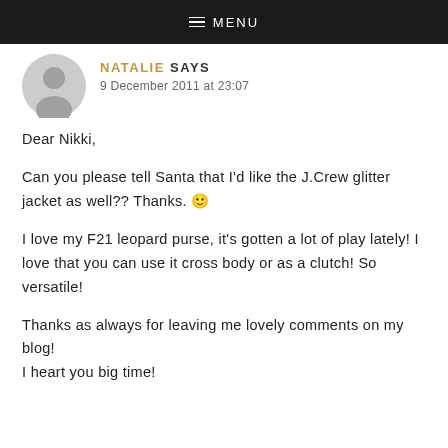≡ MENU
NATALIE SAYS
9 December 2011 at 23:07
Dear Nikki,

Can you please tell Santa that I'd like the J.Crew glitter jacket as well?? Thanks. 🙂

I love my F21 leopard purse, it's gotten a lot of play lately! I love that you can use it cross body or as a clutch! So versatile!

Thanks as always for leaving me lovely comments on my blog!
I heart you big time!